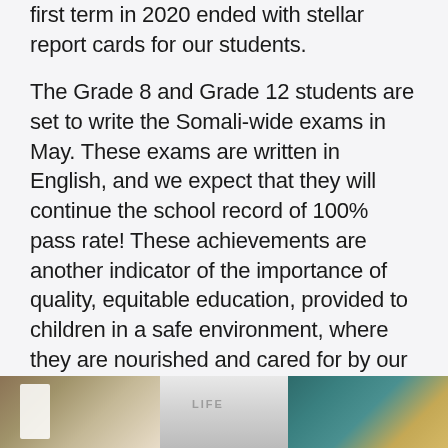first term in 2020 ended with stellar report cards for our students.
The Grade 8 and Grade 12 students are set to write the Somali-wide exams in May. These exams are written in English, and we expect that they will continue the school record of 100% pass rate! These achievements are another indicator of the importance of quality, equitable education, provided to children in a safe environment, where they are nourished and cared for by our highly qualified teachers and support staff.
[Figure (photo): A partial photo strip at the bottom of the page showing three sections: a brownish/tan section on the left with a white paper/book element, a grey middle section with the word LIFE partially visible, and a teal/gold patterned section on the right.]